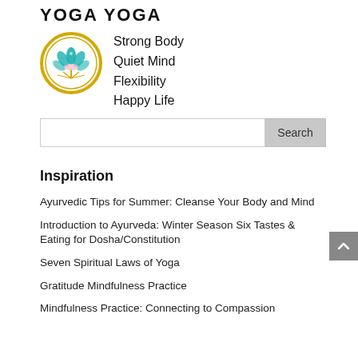YOGA YOGA
[Figure (logo): Circular yoga/lotus logo with gold border and teal lotus flower design]
Strong Body
Quiet Mind
Flexibility
Happy Life
Search
Inspiration
Ayurvedic Tips for Summer: Cleanse Your Body and Mind
Introduction to Ayurveda: Winter Season Six Tastes & Eating for Dosha/Constitution
Seven Spiritual Laws of Yoga
Gratitude Mindfulness Practice
Mindfulness Practice: Connecting to Compassion